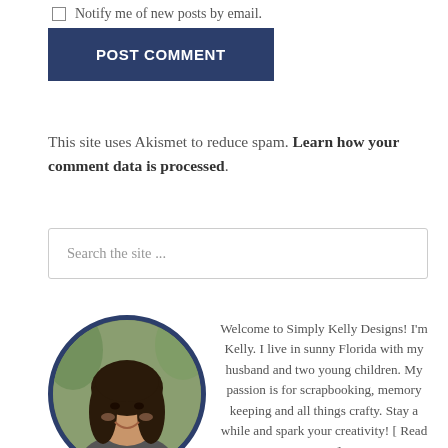☐ Notify me of new posts by email.
POST COMMENT
This site uses Akismet to reduce spam. Learn how your comment data is processed.
Search the site ...
[Figure (photo): Circular portrait photo of a woman with long dark hair, smiling, with a dark navy circular border, on a green outdoor background.]
Welcome to Simply Kelly Designs! I'm Kelly. I live in sunny Florida with my husband and two young children. My passion is for scrapbooking, memory keeping and all things crafty. Stay a while and spark your creativity! [ Read more ]